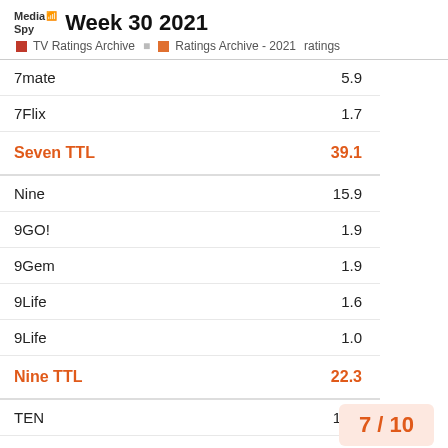Week 30 2021 — MediaSpy — TV Ratings Archive > Ratings Archive - 2021 > ratings
| Channel | Rating |
| --- | --- |
| 7mate | 5.9 |
| 7Flix | 1.7 |
| Seven TTL | 39.1 |
| Nine | 15.9 |
| 9GO! | 1.9 |
| 9Gem | 1.9 |
| 9Life | 1.6 |
| 9Life | 1.0 |
| Nine TTL | 22.3 |
| TEN | 10.9 |
| 10 Bold | 3.3 |
| 10 Peach | 2.5 |
7 / 10